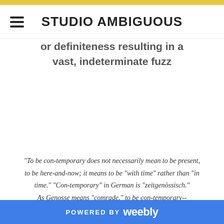STUDIO AMBIGUOUS
or definiteness resulting in a vast, indeterminate fuzz
"To be con-temporary does not necessarily mean to be present, to be here-and-now; it means to be “with time” rather than “in time.” “Con-temporary” in German is “zeitgenössisch.” As Genosse means “comrade,” to be con-temporary--
POWERED BY weebly